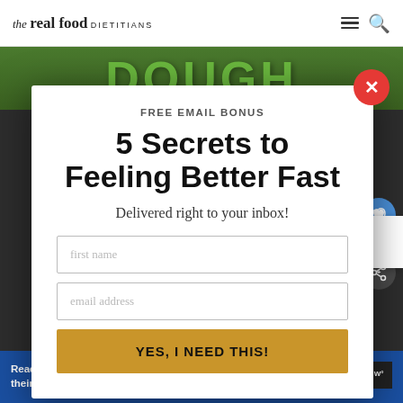the real food DIETITIANS
[Figure (screenshot): Website screenshot showing a modal popup on The Real Food Dietitians website with a dark background, DOUGH text visible at top and LEMON BARS text at bottom]
FREE EMAIL BONUS
5 Secrets to Feeling Better Fast
Delivered right to your inbox!
first name
email address
YES, I NEED THIS!
WHAT'S NEXT → Chipotle Quinoa...
478
Reach out to a friend about their mental health. Learn more SEIZE THE AWKWARD